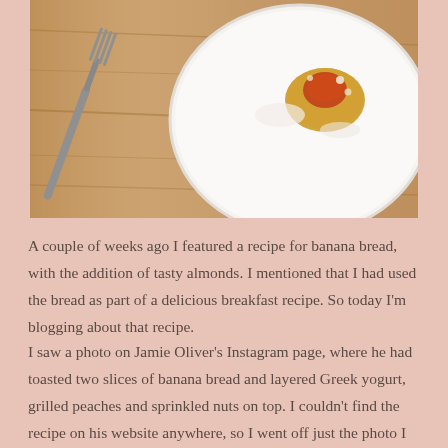[Figure (photo): Overhead view of a white plate with a piece of toasted banana bread topped with grilled peach and nuts, alongside a fork, on a wooden table]
A couple of weeks ago I featured a recipe for banana bread, with the addition of tasty almonds. I mentioned that I had used the bread as part of a delicious breakfast recipe. So today I'm blogging about that recipe.
I saw a photo on Jamie Oliver's Instagram page, where he had toasted two slices of banana bread and layered Greek yogurt, grilled peaches and sprinkled nuts on top. I couldn't find the recipe on his website anywhere, so I went off just the photo I could see.